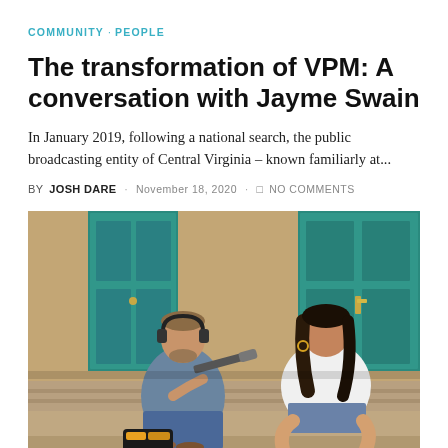COMMUNITY · PEOPLE
The transformation of VPM: A conversation with Jayme Swain
In January 2019, following a national search, the public broadcasting entity of Central Virginia – known familiarly at...
BY JOSH DARE · NOVEMBER 18, 2020 · NO COMMENTS
[Figure (photo): Two people sitting on outdoor steps in front of a building with teal/green doors. The person on the left wears headphones and holds a microphone, the person on the right wears a white t-shirt and denim shorts.]